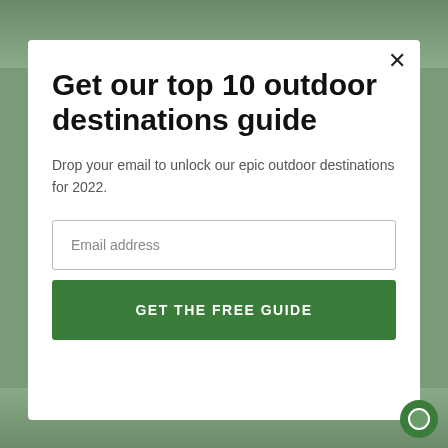[Figure (screenshot): Blurred outdoor/nature photo background visible at top and bottom edges behind white modal overlay]
Get our top 10 outdoor destinations guide
Drop your email to unlock our epic outdoor destinations for 2022.
Email address
GET THE FREE GUIDE